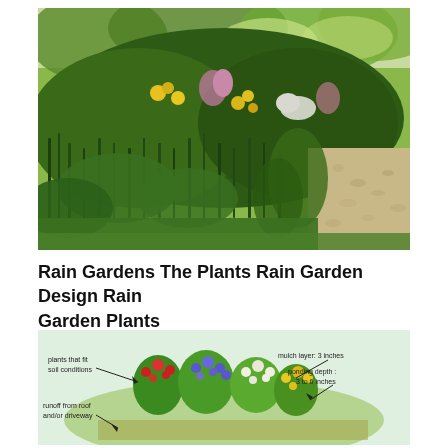[Figure (photo): A lush rain garden with various native plants including yellow flowers, pink flowering plants, tall grasses, and leafy perennials with gravel path on the right side.]
Rain Gardens The Plants Rain Garden Design Rain Garden Plants
[Figure (illustration): Diagram of a rain garden cross-section showing: plants that fit soil conditions, mulch layer: 3 inches, ponding depth: 3 to 6 inches, runoff from roof and/or driveway, with colorful flowering plants illustrated in the center.]